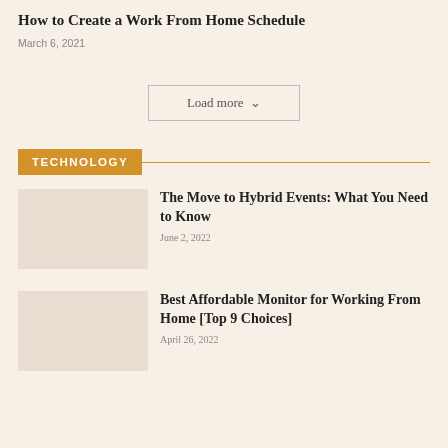How to Create a Work From Home Schedule
March 6, 2021
Load more
TECHNOLOGY
The Move to Hybrid Events: What You Need to Know
June 2, 2022
Best Affordable Monitor for Working From Home [Top 9 Choices]
April 26, 2022